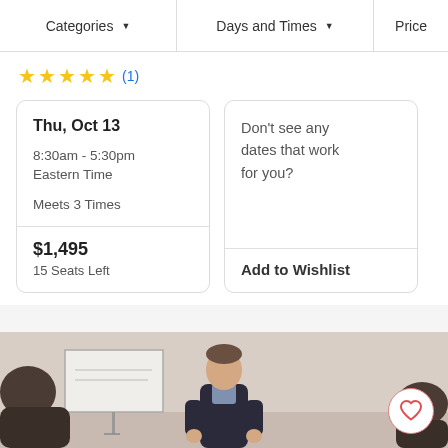Categories   Days and Times   Price
★★★★★ (1)
| Thu, Oct 13 | Don't see any dates that work for you? |
| 8:30am - 5:30pm Eastern Time
Meets 3 Times |  |
| $1,495
15 Seats Left | Add to Wishlist |
[Figure (photo): Classroom scene with instructor presenting at a whiteboard, attendees in foreground silhouettes, with a heart/wishlist button overlay in bottom right.]